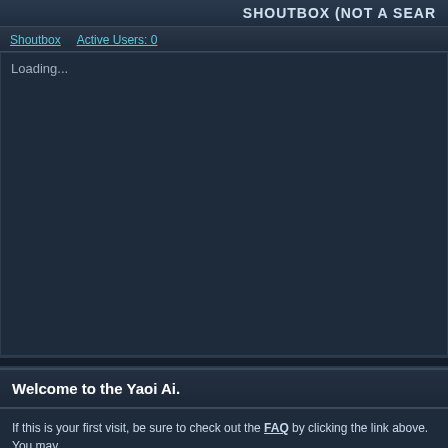SHOUTBOX (NOT A SEARCH...)
Shoutbox | Active Users: 0
Loading...
Welcome to the Yaoi Ai.
If this is your first visit, be sure to check out the FAQ by clicking the link above. You may ... proceed. To start viewing messages, select the forum that you want to visit from the sele...
Forum
News and Announcements
Forum
Yaoi Ai News
Information on the latest comings and goings at YaoiAI
Welcom... by Ai
Questions & Answers
Need help with an area of the site? Unable to validate your account? Get some help! (NOTE: Users awaiting email confirmation of their accounts can post here to get help)
How... by Stone...